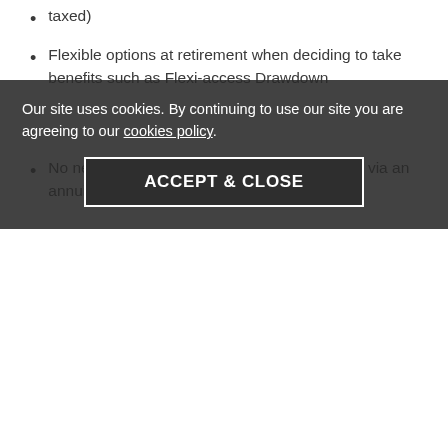taxed)
Flexible options at retirement when deciding to take benefits such as Flexi-access Drawdown
No need to 'have to secure' benefits at age 75 via an annuity
In addition, pension freedom gives individuals further and greater flexibility to access their pension savings from age 55.
The changes include:
To increase the flexibility of the drawdown rules by removing the maximum 'cap' on withdrawal and minimum income requirements for all new drawdown funds from 6 April 2015
To enable those with 'capped' drawdown to convert to a new Flexi-access Drawdown fund once arranged with their scheme
To enable pension schemes to make payments